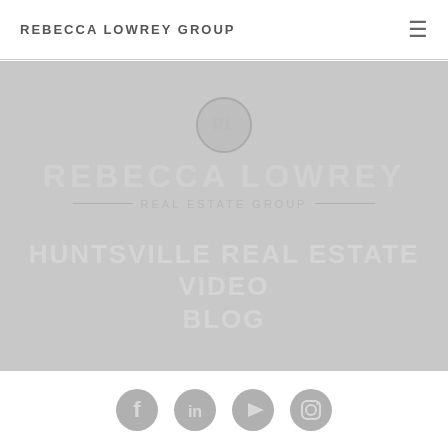REBECCA LOWREY GROUP
[Figure (logo): Rebecca Lowrey Real Estate Group hero banner with RL circular logo, brand name REBECCA LOWREY, subtitle REAL ESTATE GROUP, and hero text HUNTSVILLE REAL ESTATE VIDEO BLOG on a light grey background]
[Figure (illustration): Row of four social media icons: Facebook, LinkedIn, YouTube, Instagram — grey circular icons at the bottom of the page]